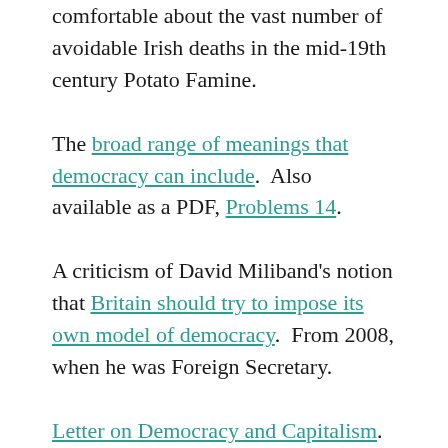comfortable about the vast number of avoidable Irish deaths in the mid-19th century Potato Famine.
The broad range of meanings that democracy can include.  Also available as a PDF, Problems 14.
A criticism of David Miliband's notion that Britain should try to impose its own model of democracy.  From 2008, when he was Foreign Secretary.
Letter on Democracy and Capitalism.  Explaing how late a development it was in British society.